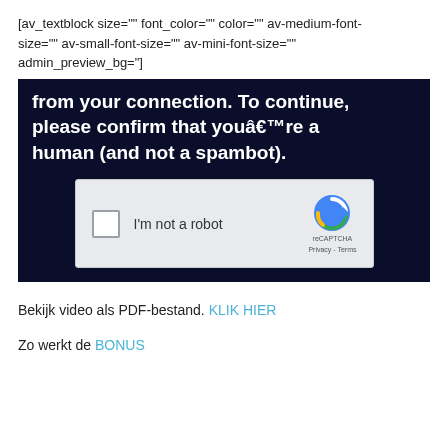[av_textblock size=" font_color=" color=" av-medium-font-size=" av-small-font-size=" av-mini-font-size=" admin_preview_bg="]
[Figure (screenshot): Screenshot of a dark-background CAPTCHA page showing text 'from your connection. To continue, please confirm that you’re a human (and not a spambot).' with a reCAPTCHA checkbox widget below.]
Bekijk video als PDF-bestand. KLIK HIER
Zo werkt de BONUS